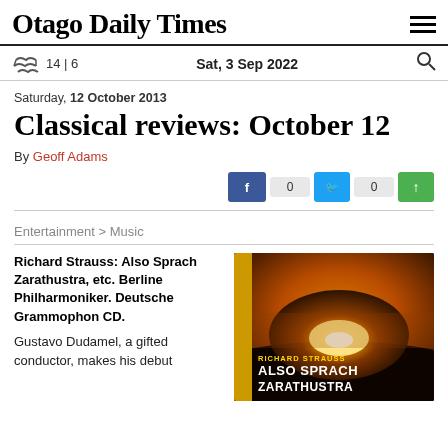Otago Daily Times
14 | 6   Sat, 3 Sep 2022
Saturday, 12 October 2013
Classical reviews: October 12
By Geoff Adams
0   0
Entertainment > Music
Richard Strauss: Also Sprach Zarathustra, etc. Berline Philharmoniker. Deutsche Grammophon CD.
Gustavo Dudamel, a gifted conductor, makes his debut
[Figure (photo): Album cover for Richard Strauss Also Sprach Zarathustra — shows a dramatic sunrise over a dark landscape with golden light bursting through clouds. Text reads RICHARD STRAUSS and ALSO SPRACH ZARATHUSTRA.]